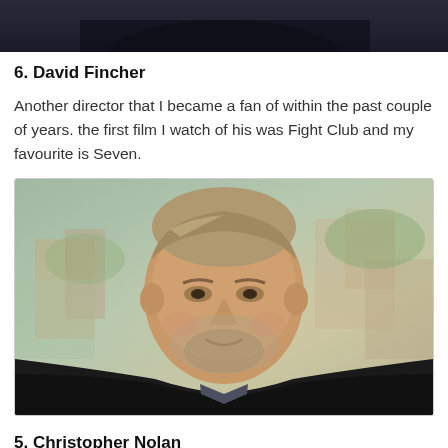[Figure (photo): Top portion of a person's photo, cropped, dark background clothing, upper body/head partially visible]
6. David Fincher
Another director that I became a fan of within the past couple of years. the first film I watch of his was Fight Club and my favourite is Seven.
[Figure (photo): Portrait photo of Christopher Nolan, middle-aged man with grey-blonde hair and beard, smiling, wearing a dark jacket, blurred background of buildings and greenery]
5. Christopher Nolan
The Batman trilogy were the films that made me a fan of Nolan and the ones that are my favourites of